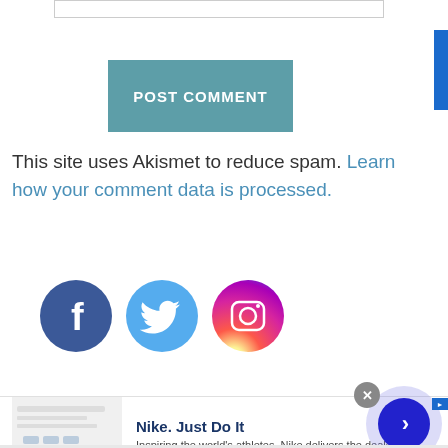[Figure (screenshot): Input bar at top of page]
[Figure (screenshot): POST COMMENT button, teal/blue-gray color]
This site uses Akismet to reduce spam. Learn how your comment data is processed.
[Figure (illustration): Social media icons: Facebook (dark blue circle with f), Twitter (light blue circle with bird), Instagram (gradient circle with camera)]
[Figure (screenshot): Infolinks ad network banner with Nike advertisement: 'Nike. Just Do It' - 'Inspiring the world's athletes, Nike delivers the deals' - www.nike.com]
[Figure (screenshot): Close X button and arrow navigation button for ad]